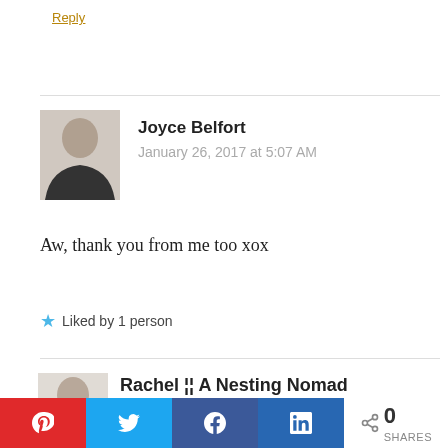Reply
Joyce Belfort
January 26, 2017 at 5:07 AM
Aw, thank you from me too xox
Liked by 1 person
Rachel ¦¦ A Nesting Nomad